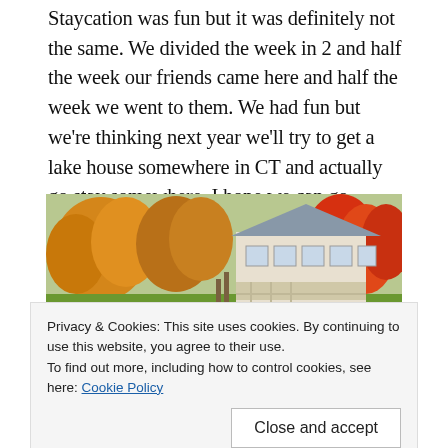Staycation was fun but it was definitely not the same. We divided the week in 2 and half the week our friends came here and half the week we went to them. We had fun but we're thinking next year we'll try to get a lake house somewhere in CT and actually go stay somewhere. I hope we can go somewhere next year out of the state but at this rate, we're thinking we'll be staying in state again.
[Figure (photo): A lakeside scene in autumn showing a white two-story house with a deck, surrounded by colorful fall foliage trees in yellows, oranges, and reds. A red canoe is visible near the water's edge. The house and trees are reflected in the calm lake water.]
School is starting again next week here. I still can't believe how fast the summer went and we didn't really do anything this... teachers quarantining because they tested positive. Some
Privacy & Cookies: This site uses cookies. By continuing to use this website, you agree to their use.
To find out more, including how to control cookies, see here: Cookie Policy